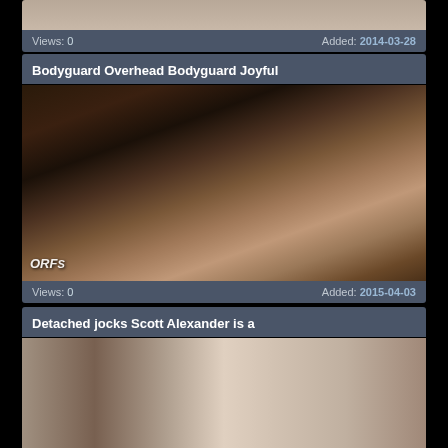[Figure (screenshot): Partial video thumbnail at top of page (cropped, shows skin/body)]
Views: 0    Added: 2014-03-28
Bodyguard Overhead Bodyguard Joyful
[Figure (screenshot): Video thumbnail for Bodyguard Overhead Bodyguard Joyful]
Views: 0    Added: 2015-04-03
Detached jocks Scott Alexander is a
[Figure (screenshot): Video thumbnail for Detached jocks Scott Alexander is a]